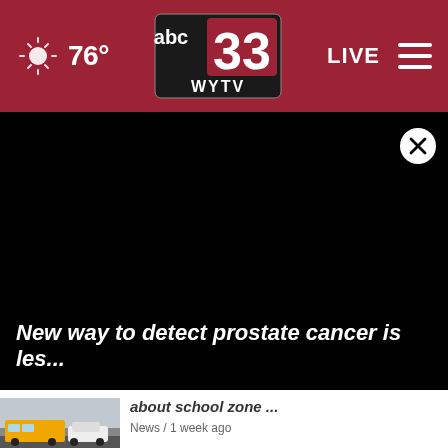abc 33 WYTV — 76° LIVE
[Figure (screenshot): Black video player area with a white circular close (X) button in the upper right corner]
New way to detect prostate cancer is les...
[Figure (photo): Thumbnail photo showing a school bus and a car in winter conditions]
about school zone ... News / 1 week ago